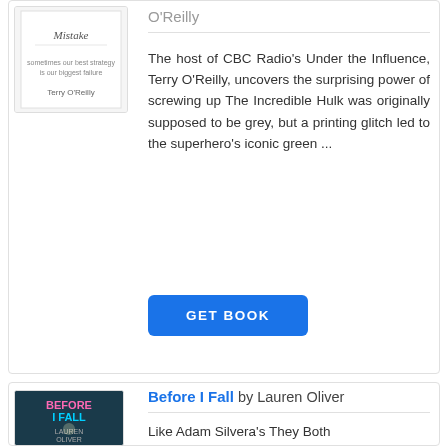[Figure (illustration): Book cover for a book by Terry O'Reilly, partially visible, showing handwritten-style title and author name]
O'Reilly
The host of CBC Radio's Under the Influence, Terry O'Reilly, uncovers the surprising power of screwing up The Incredible Hulk was originally supposed to be grey, but a printing glitch led to the superhero's iconic green ...
GET BOOK
[Figure (illustration): Book cover for 'Before I Fall' by Lauren Oliver, showing colorful neon-style text on a dark background]
Before I Fall by Lauren Oliver
Like Adam Silvera's They Both